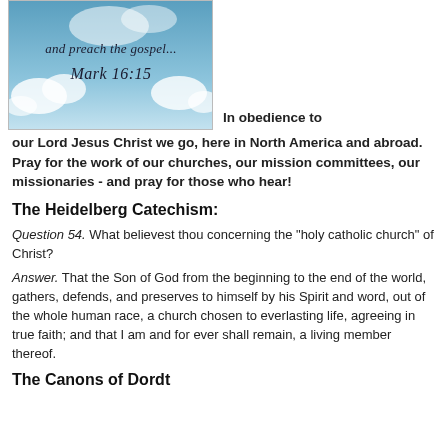[Figure (illustration): Clouds and sky background with italic text reading 'and preach the gospel... Mark 16:15']
In obedience to our Lord Jesus Christ we go, here in North America and abroad. Pray for the work of our churches, our mission committees, our missionaries - and pray for those who hear!
The Heidelberg Catechism:
Question 54. What believest thou concerning the "holy catholic church" of Christ?
Answer. That the Son of God from the beginning to the end of the world, gathers, defends, and preserves to himself by his Spirit and word, out of the whole human race, a church chosen to everlasting life, agreeing in true faith; and that I am and for ever shall remain, a living member thereof.
The Canons of Dordt